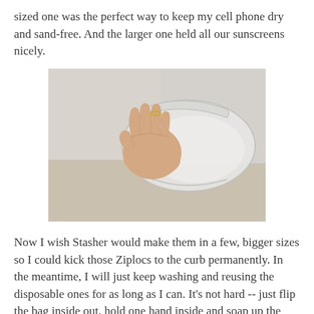sized one was the perfect way to keep my cell phone dry and sand-free. And the larger one held all our sunscreens nicely.
[Figure (photo): A hand holding a translucent silicone reusable bag (Stasher bag) closed at the top, with a ring visible on one finger. The bag is flat and appears empty, photographed against a light background.]
Now I wish Stasher would make them in a few, bigger sizes so I could kick those Ziplocs to the curb permanently. In the meantime, I will just keep washing and reusing the disposable ones for as long as I can. It's not hard -- just flip the bag inside out, hold one hand inside and soap up the outside, then